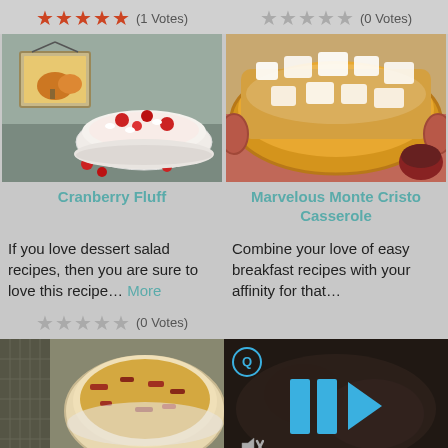★★★★★ (1 Votes)  ★★★★★ (0 Votes)
[Figure (photo): Cranberry Fluff dessert salad in a white bowl with cherries on top]
[Figure (photo): Marvelous Monte Cristo Casserole in a yellow/orange baking dish with powdered sugar]
Cranberry Fluff
Marvelous Monte Cristo Casserole
If you love dessert salad recipes, then you are sure to love this recipe… More
Combine your love of easy breakfast recipes with your affinity for that…
★★★★★ (0 Votes)
[Figure (photo): Casserole dish with egg and bacon bake]
[Figure (screenshot): Video player overlay with pause icon and mute icon on dark food background]